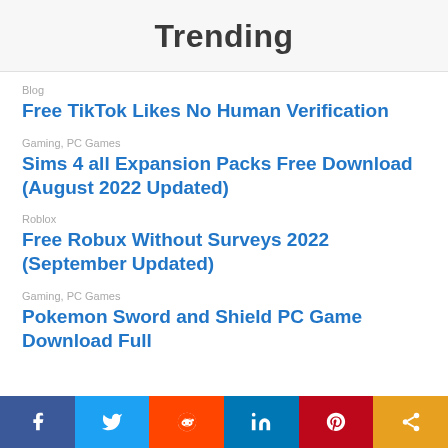Trending
Blog
Free TikTok Likes No Human Verification
Gaming, PC Games
Sims 4 all Expansion Packs Free Download (August 2022 Updated)
Roblox
Free Robux Without Surveys 2022 (September Updated)
Gaming, PC Games
Pokemon Sword and Shield PC Game Download Full
[Figure (infographic): Social share bar with icons for Facebook, Twitter, Reddit, LinkedIn, Pinterest, and share button]